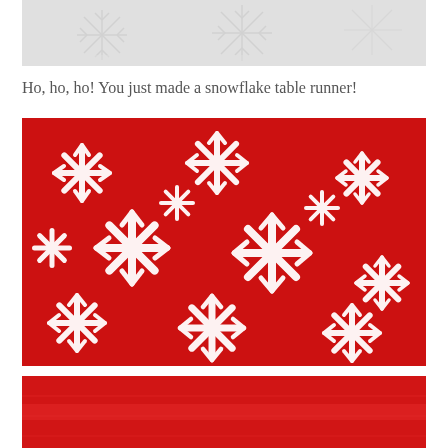[Figure (photo): White snowflake cutouts on a light gray/white background, top portion of image cropped]
Ho, ho, ho! You just made a snowflake table runner!
[Figure (photo): Close-up photo of white felt snowflakes arranged on a red glittery/sparkly background, filling the entire frame]
[Figure (photo): Bottom portion of a red glittery fabric table runner, cropped view]